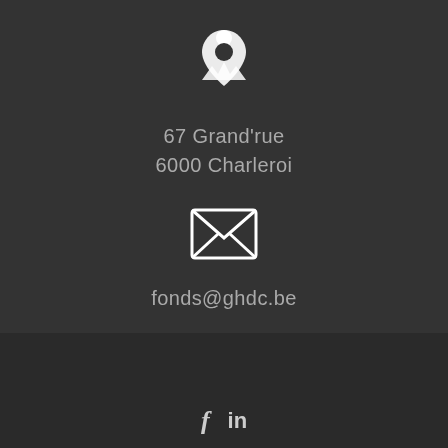[Figure (illustration): White map/location pin icon on dark background]
67 Grand'rue
6000 Charleroi
[Figure (illustration): White envelope/email icon on dark background]
fonds@ghdc.be
[Figure (illustration): White phone icon on white rounded square background]
071 10 52 52
[Figure (illustration): Facebook (f) and LinkedIn (in) social media icons on dark background]